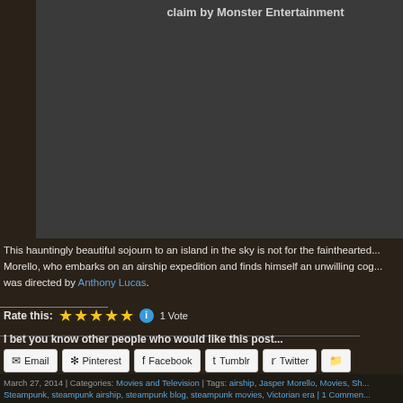claim by Monster Entertainment
[Figure (screenshot): Dark gray video embed area, blocked/unavailable video placeholder]
This hauntingly beautiful sojourn to an island in the sky is not for the fainthearted... Morello, who embarks on an airship expedition and finds himself an unwilling cog... was directed by Anthony Lucas.
Rate this: ★★★★★ ℹ 1 Vote
I bet you know other people who would like this post...
Email  Pinterest  Facebook  Tumblr  Twitter  Reddit
Loading...
March 27, 2014 | Categories: Movies and Television | Tags: airship, Jasper Morello, Movies, Sh... Steampunk, steampunk airship, steampunk blog, steampunk movies, Victorian era | 1 Commen...